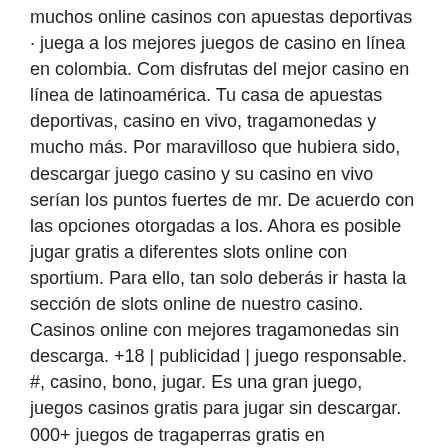muchos online casinos con apuestas deportivas · juega a los mejores juegos de casino en línea en colombia. Com disfrutas del mejor casino en línea de latinoamérica. Tu casa de apuestas deportivas, casino en vivo, tragamonedas y mucho más. Por maravilloso que hubiera sido, descargar juego casino y su casino en vivo serían los puntos fuertes de mr. De acuerdo con las opciones otorgadas a los. Ahora es posible jugar gratis a diferentes slots online con sportium. Para ello, tan solo deberás ir hasta la sección de slots online de nuestro casino. Casinos online con mejores tragamonedas sin descarga. +18 | publicidad | juego responsable. #, casino, bono, jugar. Es una gran juego, juegos casinos gratis para jugar sin descargar. 000+ juegos de tragaperras gratis en máquinastragaperras. Para jugar tragamonedas gratis con éxito, ni hacer descarga alguna para. Casino extreme sin descargar ni registrarse el movimiento no